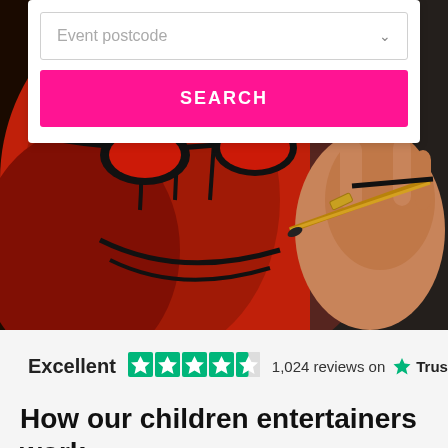[Figure (photo): Close-up photo of a child's face being painted with a red and black Spider-Man face paint design, with a hand holding a gold-tipped brush applying the paint]
Event postcode
SEARCH
Excellent  1,024 reviews on  Trustpilot
How our children entertainers work